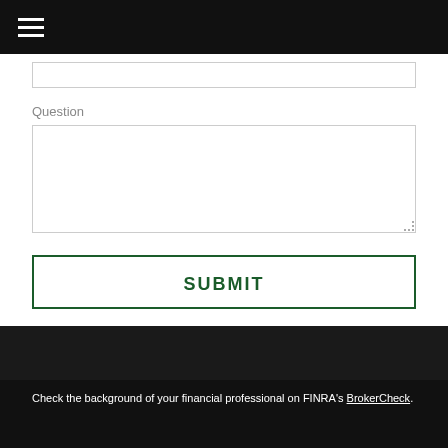Navigation menu (hamburger icon)
Question
SUBMIT
Check the background of your financial professional on FINRA's BrokerCheck.